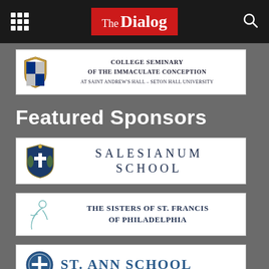The Dialog
[Figure (logo): College Seminary of the Immaculate Conception at Saint Andrew's Hall – Seton Hall University logo with crest]
Featured Sponsors
[Figure (logo): Salesianum School logo with shield crest]
[Figure (logo): The Sisters of St. Francis of Philadelphia logo with abstract figure]
[Figure (logo): St. Ann School logo with circular seal]